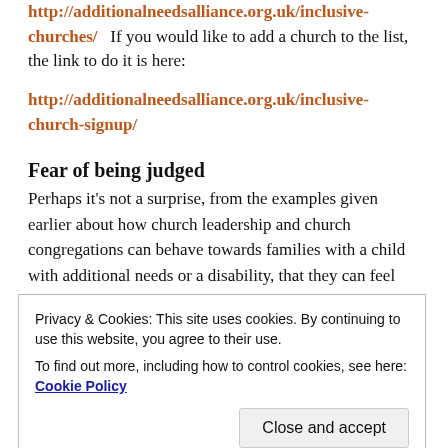http://additionalneedsalliance.org.uk/inclusive-churches/  If you would like to add a church to the list, the link to do it is here:
http://additionalneedsalliance.org.uk/inclusive-church-signup/
Fear of being judged
Perhaps it's not a surprise, from the examples given earlier about how church leadership and church congregations can behave towards families with a child with additional needs or a disability, that they can feel judged and so exclude themselves, but some parents can do so even before giving a church a
Privacy & Cookies: This site uses cookies. By continuing to use this website, you agree to their use.
To find out more, including how to control cookies, see here: Cookie Policy
Close and accept
place of belonging for all, a safe place where no one is